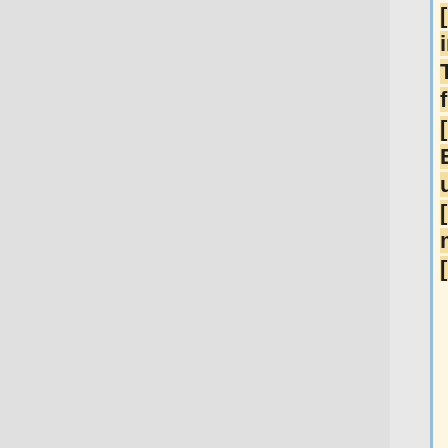[https://www-internal.slac.stanford.edu/glast/integrationtest/online/Forum/topic.asp?TOPIC_ID=328 funny ringtones] [http://pathology.jhu.edu/N/n.web?EP=N&URL=/MCGI/SEND1^WEBUTLTY(200,832247) ultracet online] [http://eralchi.blogdiario.com/ music ringtones] [http://src.moffit.usf.edu/sf/sfm